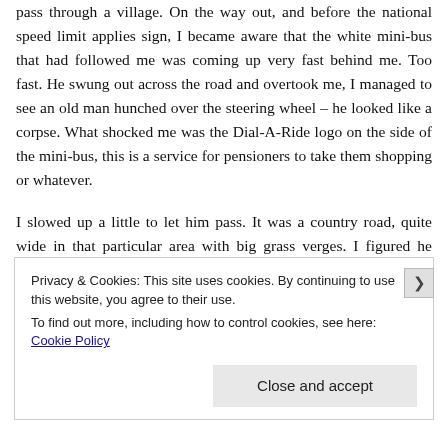pass through a village. On the way out, and before the national speed limit applies sign, I became aware that the white mini-bus that had followed me was coming up very fast behind me. Too fast. He swung out across the road and overtook me, I managed to see an old man hunched over the steering wheel – he looked like a corpse. What shocked me was the Dial-A-Ride logo on the side of the mini-bus, this is a service for pensioners to take them shopping or whatever.
I slowed up a little to let him pass. It was a country road, quite wide in that particular area with big grass verges. I figured he would pass me and I'd let him get some distance.
Privacy & Cookies: This site uses cookies. By continuing to use this website, you agree to their use.
To find out more, including how to control cookies, see here: Cookie Policy